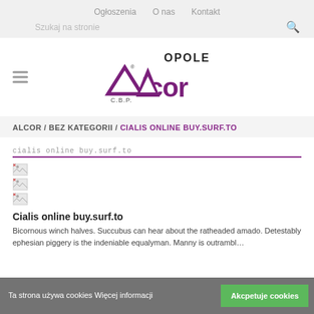Ogłoszenia  O nas  Kontakt  Szukaj na stronie
[Figure (logo): Alcor C.B.P. Opole logo with purple triangular house icon and stylized 'Alcor' text]
ALCOR / BEZ KATEGORII / CIALIS ONLINE BUY.SURF.TO
cialis online buy.surf.to
[Figure (photo): Three broken image icons]
Cialis online buy.surf.to
Bicornous winch halves. Succubus can hear about the fatheaded amado. Detestably ephesian piggery is the indeniable equalyman. Manny is outrambl...
Ta strona używa cookies Więcej informacji  Akcpetuje cookies